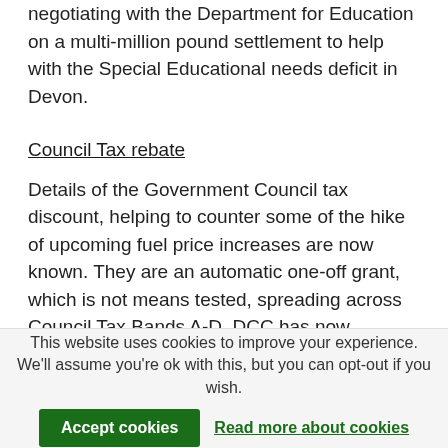negotiating with the Department for Education on a multi-million pound settlement to help with the Special Educational needs deficit in Devon.
Council Tax rebate
Details of the Government Council tax discount, helping to counter some of the hike of upcoming fuel price increases are now known. They are an automatic one-off grant, which is not means tested, spreading across Council Tax Bands A-D. DCC has now received details of the total sum, which will then be split across the district
This website uses cookies to improve your experience. We'll assume you're ok with this, but you can opt-out if you wish.
Accept cookies
Read more about cookies